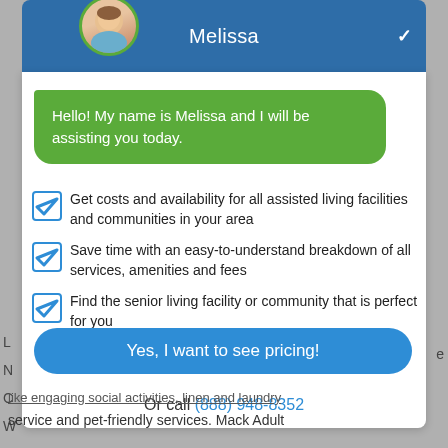[Figure (screenshot): Chat widget interface with header showing avatar of Melissa and blue header bar with chevron down icon]
Melissa
Hello! My name is Melissa and I will be assisting you today.
Get costs and availability for all assisted living facilities and communities in your area
Save time with an easy-to-understand breakdown of all services, amenities and fees
Find the senior living facility or community that is perfect for you
Yes, I want to see pricing!
Or call (888) 948-8352
like engaging social activities, linen and laundry service and pet-friendly services. Mack Adult